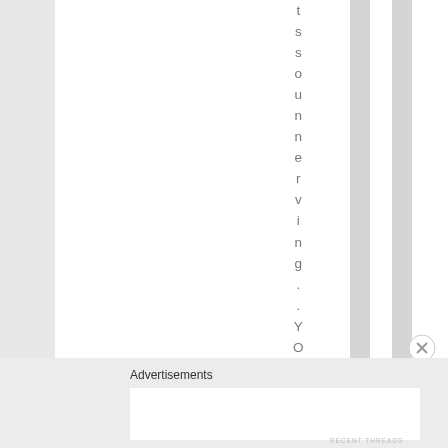[Figure (screenshot): A webpage screenshot showing vertical striped layout with alternating white and gray columns. A vertical text reading 'tssounnervying. You' is visible in the center-right area of the page layout.]
Advertisements
[Figure (other): White advertisement placeholder box]
RECENT THREADS